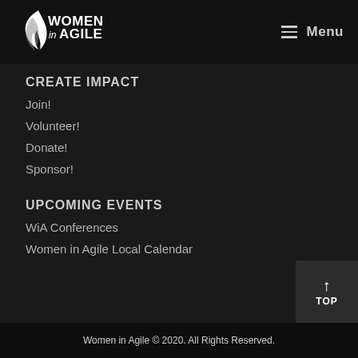Women in Agile — Menu
CREATE IMPACT
Join!
Volunteer!
Donate!
Sponsor!
UPCOMING EVENTS
WiA Conferences
Women in Agile Local Calendar
Women in Agile © 2020. All Rights Reserved.